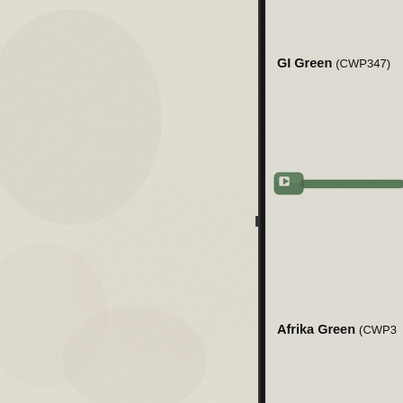[Figure (illustration): Left panel showing aged/textured cream/off-white paper background with dark spine on right edge]
GI Green (CWP347)
[Figure (illustration): Green cable tie illustration showing the locking head and strap extending to the right, in GI Green color (CWP347)]
Afrika Green (CWP3...